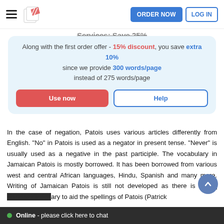ORDER NOW  LOG IN
Along with the first order offer - 15% discount, you save extra 10% since we provide 300 words/page instead of 275 words/page
Use now   Help
In the case of negation, Patois uses various articles differently from English. "No" in Patois is used as a negator in present tense. "Never" is usually used as a negative in the past participle. The vocabulary in Jamaican Patois is mostly borrowed. It has been borrowed from various west and central African languages, Hindu, Spanish and many more. Writing of Jamaican Patois is still not developed as there is n... the spellings of Patois (Patrick
Online - please click here to chat